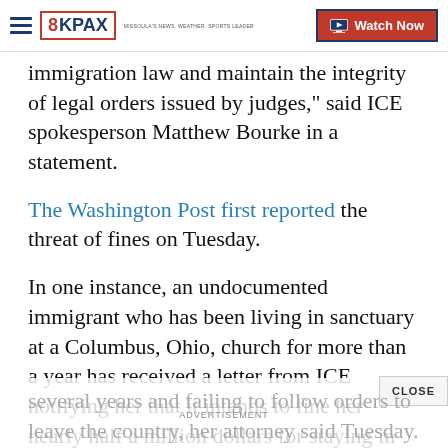8KPAX | Watch Now
immigration law and maintain the integrity of legal orders issued by judges," said ICE spokesperson Matthew Bourke in a statement.
The Washington Post first reported the threat of fines on Tuesday.
In one instance, an undocumented immigrant who has been living in sanctuary at a Columbus, Ohio, church for more than a year has received a letter from ICE notifying her that it intends to fine her nearly half a million dollars for staying in the US illegally over several years and failing to follow orders to leave the country, her attorney said Tuesday.